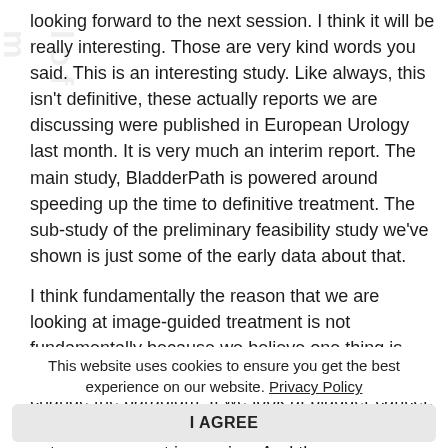looking forward to the next session. I think it will be really interesting. Those are very kind words you said. This is an interesting study. Like always, this isn't definitive, these actually reports we are discussing were published in European Urology last month. It is very much an interim report. The main study, BladderPath is powered around speeding up the time to definitive treatment. The sub-study of the preliminary feasibility study we've shown is just some of the early data about that.
I think fundamentally the reason that we are looking at image-guided treatment is not fundamentally because we believe one thing is better than the other, but we believe we have to change the paradigm. If we look at bladder cancer, it is about the only solid cancer where the outcomes are not improving. And there are many reasons why the outcomes
This website uses cookies to ensure you get the best experience on our website. Privacy Policy
I AGREE